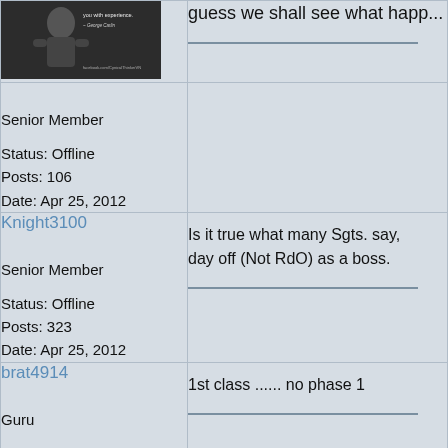[Figure (photo): Avatar image showing a person with a quote by George Carlin]
guess we shall see what happ...
Senior Member
Status: Offline
Posts: 106
Date: Apr 25, 2012
Knight3100
Senior Member
Status: Offline
Posts: 323
Date: Apr 25, 2012
Is it true what many Sgts. say, day off (Not RdO) as a boss.
brat4914
Guru
Status: Offline
Posts: 1521
Date: Apr 25, 2012
1st class ...... no phase 1